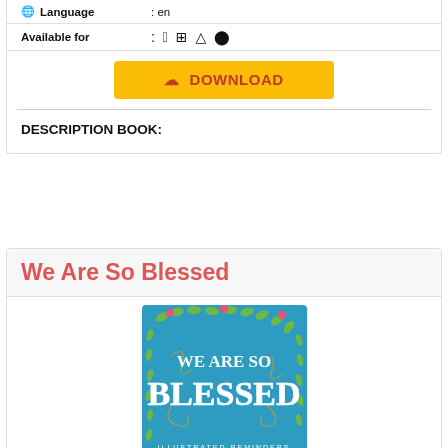| 🌐 Language | : en |
| Available for | : 🍎 ⊞ 🐧 🤖 |
[Figure (other): Yellow download button with cloud icon and text DOWNLOAD in red/pink]
DESCRIPTION BOOK:
We Are So Blessed
[Figure (illustration): Book cover for 'We Are So Blessed' - blue background with white decorative lettering, floral/leaf border with pink flowers and gold swirls, subtitle 'ILLUSTRATED REMINDERS']